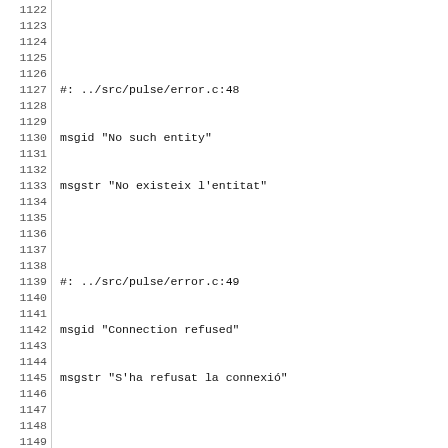Code listing lines 1122-1152, localization file entries for pulse/error.c errors in Catalan translation (.po file format). Lines include source references, msgid and msgstr entries for: No such entity, Connection refused, Protocol error, Timeout, No authorization key, Internal error, Connection terminated, Entity killed.